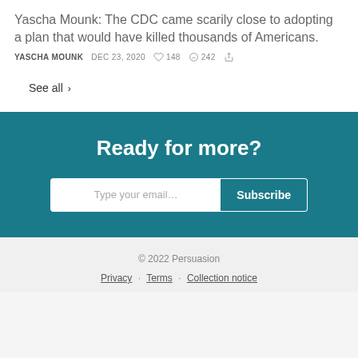Yascha Mounk: The CDC came scarily close to adopting a plan that would have killed thousands of Americans.
YASCHA MOUNK   DEC 23, 2020   ♡ 148   ○ 242   ↗
See all >
Ready for more?
Type your email... Subscribe
© 2022 Persuasion
Privacy · Terms · Collection notice